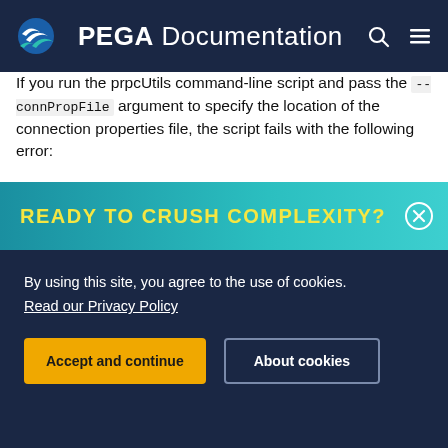PEGA Documentation
If you run the prpcUtils command-line script and pass the --connPropFile argument to specify the location of the connection properties file, the script fails with the following error:
Problem: failed to create task or type ac:/antcontrib.org:for
This error does not appear if you do not pass the --connPropFile argument, or if you use
READY TO CRUSH COMPLEXITY?
By using this site, you agree to the use of cookies.
Read our Privacy Policy
Accept and continue
About cookies